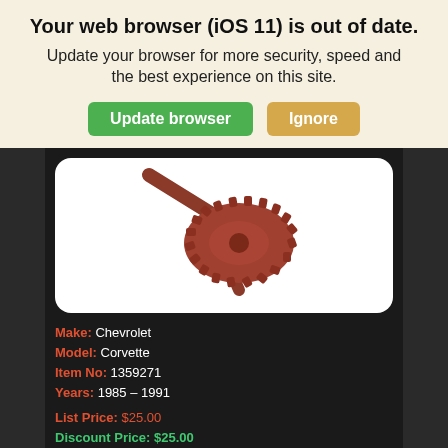Your web browser (iOS 11) is out of date.
Update your browser for more security, speed and the best experience on this site.
Update browser | Ignore
[Figure (photo): Red/brown helical gear with shaft, product photo on white background]
Make: Chevrolet
Model: Corvette
Item No: 1359271
Years: 1985 – 1991
List Price: $25.00
Discount Price: $25.00
(Savings: $0.00)
85-91-GEAR, SPEEDOMETER DRIVEN-37 TEETH- NEW OLD STOCK